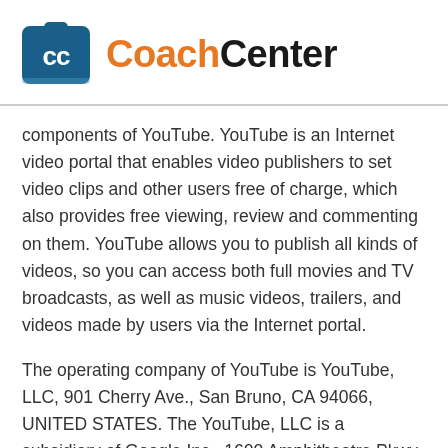[Figure (logo): CoachCenter logo with blue camera/clipboard icon and text 'CoachCenter' where 'Coach' is orange and 'Center' is black]
components of YouTube. YouTube is an Internet video portal that enables video publishers to set video clips and other users free of charge, which also provides free viewing, review and commenting on them. YouTube allows you to publish all kinds of videos, so you can access both full movies and TV broadcasts, as well as music videos, trailers, and videos made by users via the Internet portal.
The operating company of YouTube is YouTube, LLC, 901 Cherry Ave., San Bruno, CA 94066, UNITED STATES. The YouTube, LLC is a subsidiary of Google Inc., 1600 Amphitheatre Pkwy, Mountain View, CA 94043-1351, UNITED STATES.
With each call-up to one of the individual pages of this